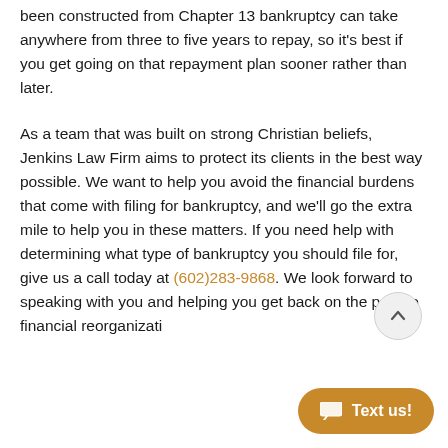been constructed from Chapter 13 bankruptcy can take anywhere from three to five years to repay, so it's best if you get going on that repayment plan sooner rather than later.
As a team that was built on strong Christian beliefs, Jenkins Law Firm aims to protect its clients in the best way possible. We want to help you avoid the financial burdens that come with filing for bankruptcy, and we'll go the extra mile to help you in these matters. If you need help with determining what type of bankruptcy you should file for, give us a call today at (602)283-9868. We look forward to speaking with you and helping you get back on the path to financial reorganizati…